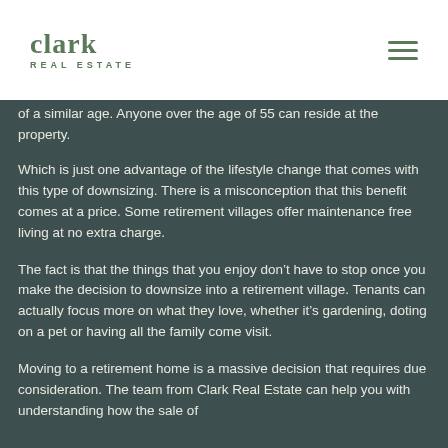clark REAL ESTATE
of a similar age. Anyone over the age of 55 can reside at the property.
Which is just one advantage of the lifestyle change that comes with this type of downsizing. There is a misconception that this benefit comes at a price. Some retirement villages offer maintenance free living at no extra charge.
The fact is that the things that you enjoy don’t have to stop once you make the decision to downsize into a retirement village. Tenants can actually focus more on what they love, whether it’s gardening, doting on a pet or having all the family come visit.
Moving to a retirement home is a massive decision that requires due consideration. The team from Clark Real Estate can help you with understanding how the sale of